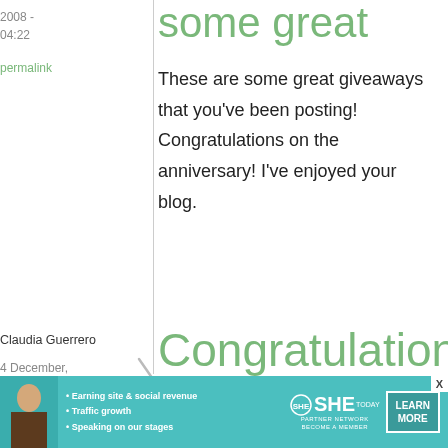2008 - 04:22
permalink
some great
These are some great giveaways that you've been posting! Congratulations on the anniversary! I've enjoyed your blog.
Claudia Guerrero
4 December, 2008 - 06:08
permalink
Congratulations and thanks!
[Figure (other): SHE Partner Network advertisement banner with woman photo, bullet points, logo, and Learn More button]